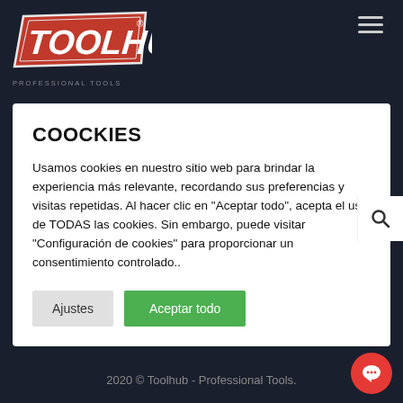[Figure (logo): Toolhub Professional Tools logo — red parallelogram shape with white italic text TOOLHUB and tagline PROFESSIONAL TOOLS below]
COOCKIES
Usamos cookies en nuestro sitio web para brindar la experiencia más relevante, recordando sus preferencias y visitas repetidas. Al hacer clic en "Aceptar todo", acepta el uso de TODAS las cookies. Sin embargo, puede visitar "Configuración de cookies" para proporcionar un consentimiento controlado..
2020 © Toolhub - Professional Tools.